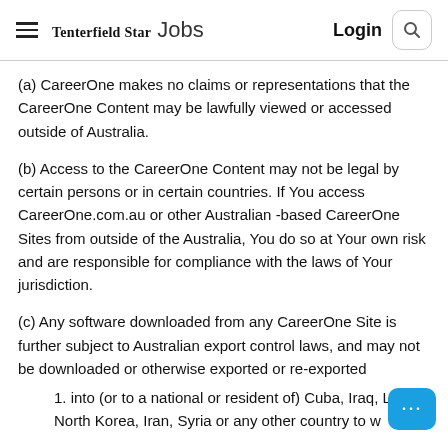Tenterfield Star Jobs  Login 🔍
(a) CareerOne makes no claims or representations that the CareerOne Content may be lawfully viewed or accessed outside of Australia.
(b) Access to the CareerOne Content may not be legal by certain persons or in certain countries. If You access CareerOne.com.au or other Australian -based CareerOne Sites from outside of the Australia, You do so at Your own risk and are responsible for compliance with the laws of Your jurisdiction.
(c) Any software downloaded from any CareerOne Site is further subject to Australian export control laws, and may not be downloaded or otherwise exported or re-exported
1. into (or to a national or resident of) Cuba, Iraq, L... North Korea, Iran, Syria or any other country to w...